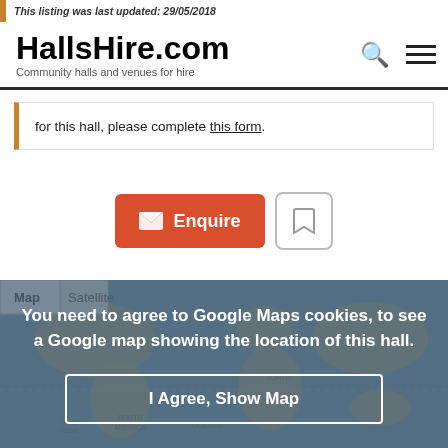This listing was last updated: 29/05/2018
HallsHire.com
Community halls and venues for hire
for this hall, please complete this form.
[Figure (screenshot): Enquire button (red) and bookmark button (outlined)]
[Figure (screenshot): Google Maps embed with cookie consent overlay. Map/Satellite tabs visible. Message: 'You need to agree to Google Maps cookies, to see a Google map showing the location of this hall.' Button: 'I Agree, Show Map']